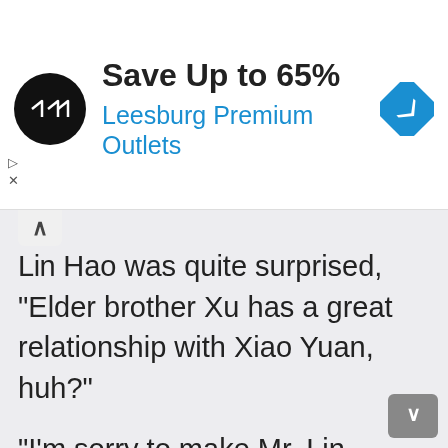[Figure (screenshot): Advertisement banner: black circular logo with double arrow icon, text 'Save Up to 65%' in bold dark text and 'Leesburg Premium Outlets' in blue, blue diamond navigation icon on the right, with ad controls (play/close icons) on the left side below the banner]
Lin Hao was quite surprised, “Elder brother Xu has a great relationship with Xiao Yuan, huh?”
“I’m sorry to make Mr. Lin laugh, but Chen Youde was kind to me and once saved my life, and Xiao Yuan is the one I grew up with, and I’ve always treated her like my own daughter.” Xu Lin sighed, he just didn’t know who had offended him to treat the Chen family so badly